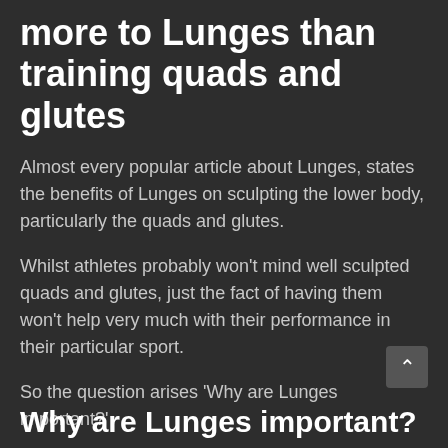more to Lunges than training quads and glutes
Almost every popular article about Lunges, states the benefits of Lunges on sculpting the lower body, particularly the quads and glutes.
Whilst athletes probably won't mind well sculpted quads and glutes, just the fact of having them won't help very much with their performance in their particular sport.
So the question arises ‘Why are Lunges important?’
Why are Lunges important?